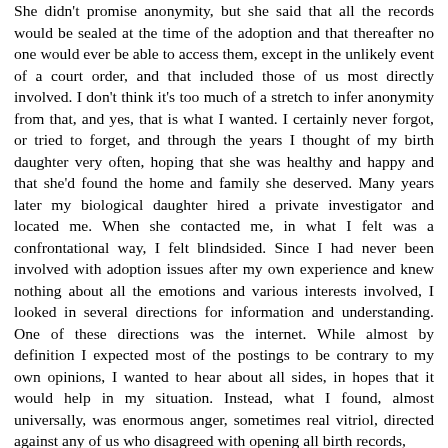She didn't promise anonymity, but she said that all the records would be sealed at the time of the adoption and that thereafter no one would ever be able to access them, except in the unlikely event of a court order, and that included those of us most directly involved. I don't think it's too much of a stretch to infer anonymity from that, and yes, that is what I wanted. I certainly never forgot, or tried to forget, and through the years I thought of my birth daughter very often, hoping that she was healthy and happy and that she'd found the home and family she deserved. Many years later my biological daughter hired a private investigator and located me. When she contacted me, in what I felt was a confrontational way, I felt blindsided. Since I had never been involved with adoption issues after my own experience and knew nothing about all the emotions and various interests involved, I looked in several directions for information and understanding. One of these directions was the internet. While almost by definition I expected most of the postings to be contrary to my own opinions, I wanted to hear about all sides, in hopes that it would help in my situation. Instead, what I found, almost universally, was enormous anger, sometimes real vitriol, directed against any of us who disagreed with opening all birth records,